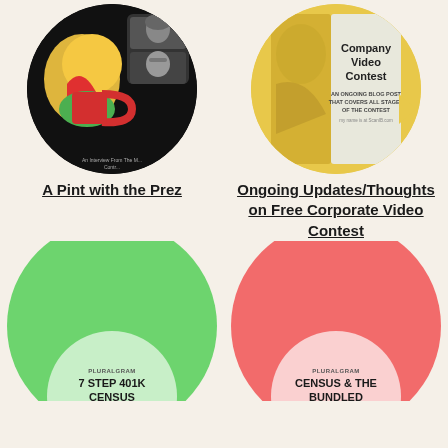[Figure (illustration): Circular image showing a colorful illustration with a coffee mug and abstract shapes on black background, representing 'A Pint with the Prez' podcast]
[Figure (illustration): Circular image showing a yellow/golden book cover for 'Free Company Video Contest' with text 'An ongoing blog post that covers all stages of the contest']
A Pint with the Prez
Ongoing Updates/Thoughts on Free Corporate Video Contest
[Figure (illustration): Large green circle with a lighter green inner circle containing text '7 STEP 401K CENSUS', partially cut off at bottom]
[Figure (illustration): Large red/coral circle with a lighter pink inner circle containing text 'CENSUS & THE BUNDLED', partially cut off at bottom]